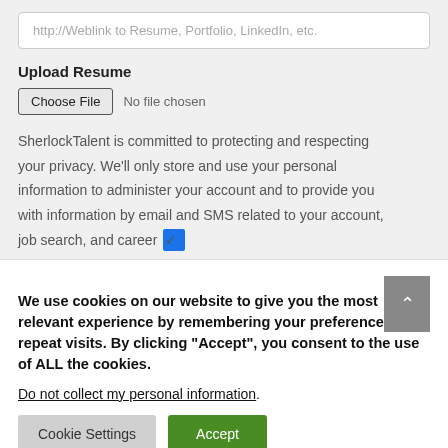http://Weblink to Resume, Portfolio, LinkedIn, etc.
Upload Resume
Choose File  No file chosen
SherlockTalent is committed to protecting and respecting your privacy. We'll only store and use your personal information to administer your account and to provide you with information by email and SMS related to your account, job search, and career
We use cookies on our website to give you the most relevant experience by remembering your preferences and repeat visits. By clicking "Accept", you consent to the use of ALL the cookies.
Do not collect my personal information.
Cookie Settings
Accept